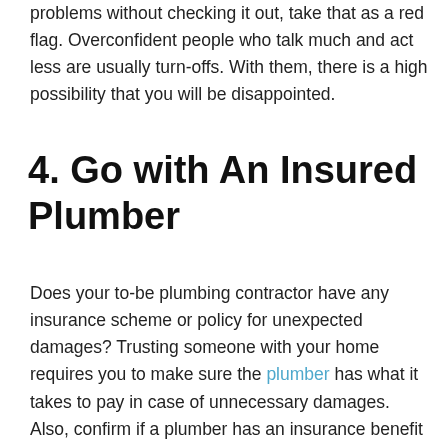problems without checking it out, take that as a red flag. Overconfident people who talk much and act less are usually turn-offs. With them, there is a high possibility that you will be disappointed.
4. Go with An Insured Plumber
Does your to-be plumbing contractor have any insurance scheme or policy for unexpected damages? Trusting someone with your home requires you to make sure the plumber has what it takes to pay in case of unnecessary damages. Also, confirm if a plumber has an insurance benefit that covers injury at work.